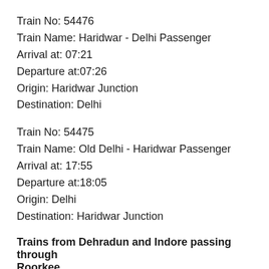Train No: 54476
Train Name: Haridwar - Delhi Passenger
Arrival at: 07:21
Departure at:07:26
Origin: Haridwar Junction
Destination: Delhi
Train No: 54475
Train Name: Old Delhi - Haridwar Passenger
Arrival at: 17:55
Departure at:18:05
Origin: Delhi
Destination: Haridwar Junction
Trains from Dehradun and Indore passing through Roorkee